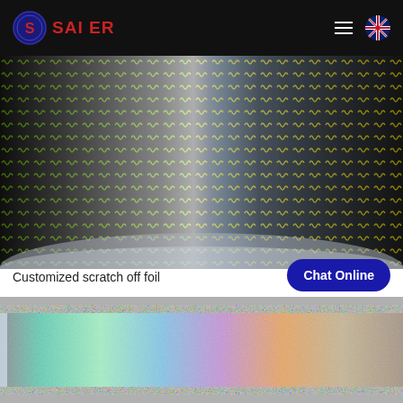SAI ER
[Figure (photo): Close-up photograph of a roll of customized scratch off foil showing green and yellow wavy pattern lines on dark background with a holographic/metallic sheen]
Customized scratch off foil
[Figure (photo): Close-up photograph of holographic sparkle foil roll showing rainbow iridescent glitter pattern on metallic surface]
Chat Online